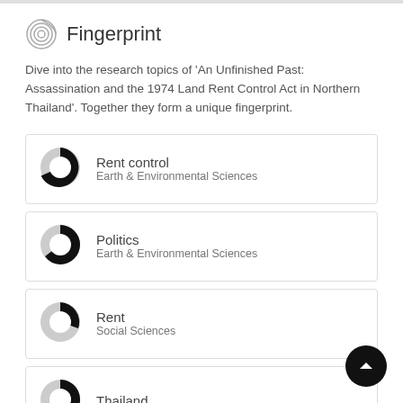Fingerprint
Dive into the research topics of 'An Unfinished Past: Assassination and the 1974 Land Rent Control Act in Northern Thailand'. Together they form a unique fingerprint.
[Figure (infographic): Donut chart icon for Rent control - Earth & Environmental Sciences]
Rent control
Earth & Environmental Sciences
[Figure (infographic): Donut chart icon for Politics - Earth & Environmental Sciences]
Politics
Earth & Environmental Sciences
[Figure (infographic): Donut chart icon for Rent - Social Sciences]
Rent
Social Sciences
[Figure (infographic): Donut chart icon for Thailand]
Thailand